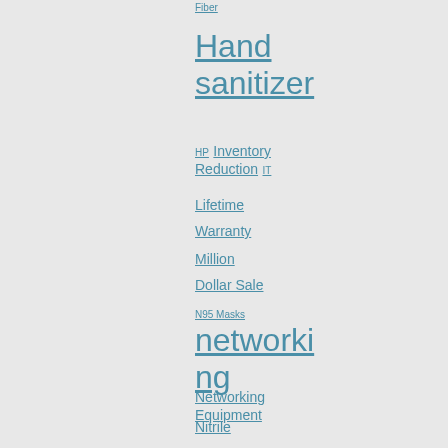Fiber
Hand sanitizer
HP Inventory Reduction IT
Lifetime
Warranty
Million
Dollar Sale
N95 Masks
networking
Networking Equipment
Nitrile
Gloves
Office OM4